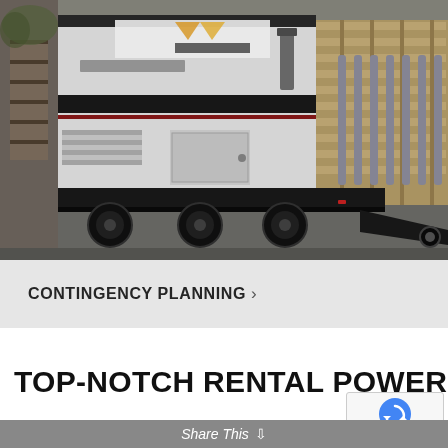[Figure (photo): A large white portable generator unit with 'Rental Power' branding on the side, mounted on a black trailer/flatbed. The generator appears to be an industrial diesel unit. Background shows an outdoor industrial/construction site with additional equipment and wooden crates visible on the right side. The image has a slightly desaturated/grey tone.]
CONTINGENCY PLANNING >
TOP-NOTCH RENTAL POWER SOLUTI
Share This